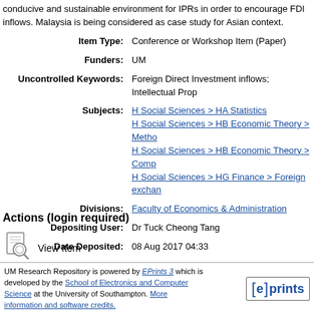conducive and sustainable environment for IPRs in order to encourage FDI inflows. Malaysia is being considered as case study for Asian context.
| Field | Value |
| --- | --- |
| Item Type: | Conference or Workshop Item (Paper) |
| Funders: | UM |
| Uncontrolled Keywords: | Foreign Direct Investment inflows; Intellectual Prop... |
| Subjects: | H Social Sciences > HA Statistics
H Social Sciences > HB Economic Theory > Metho...
H Social Sciences > HB Economic Theory > Comp...
H Social Sciences > HG Finance > Foreign exchan... |
| Divisions: | Faculty of Economics & Administration |
| Depositing User: | Dr Tuck Cheong Tang |
| Date Deposited: | 08 Aug 2017 04:33 |
| Last Modified: | 24 Oct 2018 14:39 |
| URI: | http://eprints.um.edu.my/id/eprint/17139 |
Actions (login required)
[Figure (illustration): View Item icon - magnifying glass over a document]
View Item
UM Research Repository is powered by EPrints 3 which is developed by the School of Electronics and Computer Science at the University of Southampton. More information and software credits.